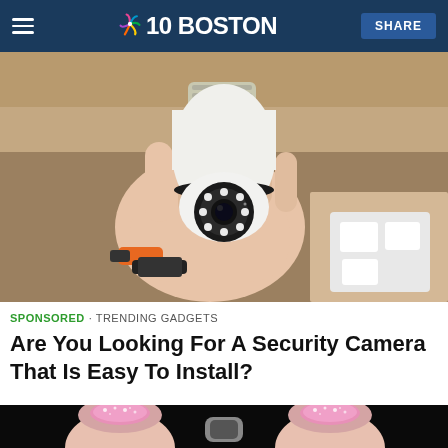NBC 10 BOSTON
[Figure (photo): A hand holding a white security camera shaped like a light bulb with a black camera lens and LED lights visible]
SPONSORED · TRENDING GADGETS
Are You Looking For A Security Camera That Is Easy To Install?
[Figure (photo): Close-up of fingers with glittery pink nail polish holding a small object against a dark background]